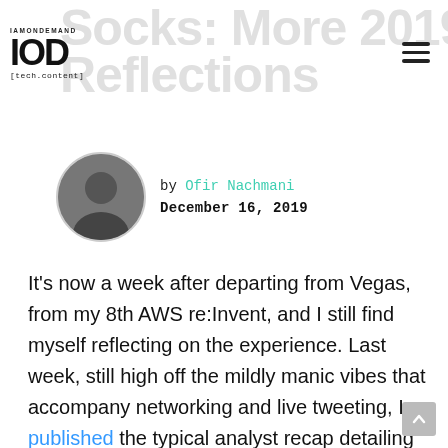Socks: More 2019 re:Invent Reflections
[Figure (logo): IAMONDEMAND IOD [tech.content] logo in top left]
by Ofir Nachmani
December 16, 2019
It's now a week after departing from Vegas, from my 8th AWS re:Invent, and I still find myself reflecting on the experience. Last week, still high off the mildly manic vibes that accompany networking and live tweeting, I published the typical analyst recap detailing Amazon's announcements, new offerings, and